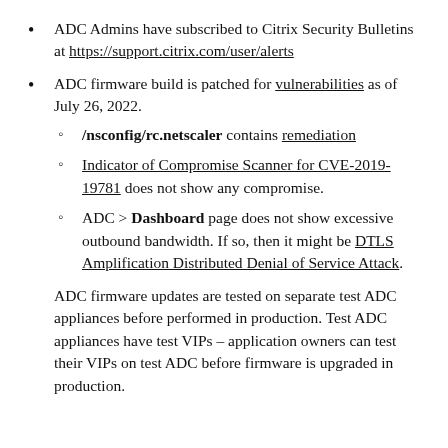ADC Admins have subscribed to Citrix Security Bulletins at https://support.citrix.com/user/alerts
ADC firmware build is patched for vulnerabilities as of July 26, 2022.
/nsconfig/rc.netscaler contains remediation
Indicator of Compromise Scanner for CVE-2019-19781 does not show any compromise.
ADC > Dashboard page does not show excessive outbound bandwidth. If so, then it might be DTLS Amplification Distributed Denial of Service Attack.
ADC firmware updates are tested on separate test ADC appliances before performed in production. Test ADC appliances have test VIPs – application owners can test their VIPs on test ADC before firmware is upgraded in production.